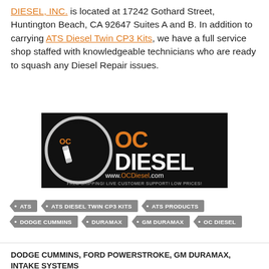DIESEL, INC. is located at 17242 Gothard Street, Huntington Beach, CA 92647 Suites A and B. In addition to carrying ATS Diesel Twin CP3 Kits, we have a full service shop staffed with knowledgeable technicians who are ready to squash any Diesel Repair issues.
[Figure (logo): OC Diesel logo on black background with website www.OCDiesel.com and taglines FREE SHIPPING!, LIVE CUSTOMER SUPPORT!, LOW PRICES!]
• ATS
• ATS DIESEL TWIN CP3 KITS
• ATS PRODUCTS
• DODGE CUMMINS
• DURAMAX
• GM DURAMAX
• OC DIESEL
DODGE CUMMINS, FORD POWERSTROKE, GM DURAMAX, INTAKE SYSTEMS